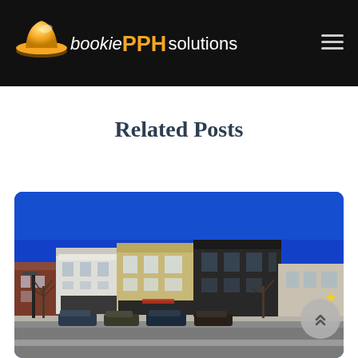bookie PPH solutions
Related Posts
[Figure (photo): Street-level photo of a small-town downtown commercial district. Several two-story brick and masonry storefronts line a main street under a vivid deep blue sky. Bare trees are visible in winter. Vehicles are parked along the street.]